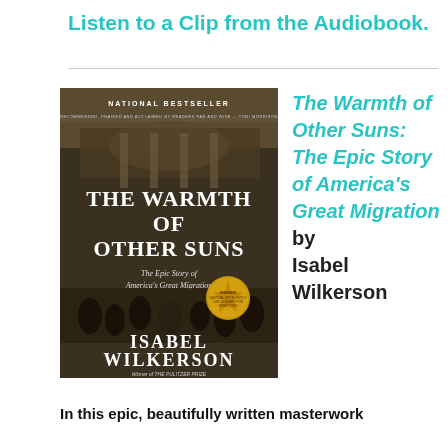Listen to a Clip from the Audiobook.
[Figure (photo): Book cover of 'The Warmth of Other Suns: The Epic Story of America's Great Migration' by Isabel Wilkerson. Black and white photo of people on a city building balcony. Text reads: NATIONAL BESTSELLER, THE WARMTH OF OTHER SUNS, The Epic Story of America's Great Migration, ISABEL WILKERSON, Winner of THE PULITZER PRIZE. Gold medallion: WINNER National Book Critics Circle Award for Nonfiction.]
The Warmth of Other Suns: The Epic Story of America's Great Migration by Isabel Wilkerson
In this epic, beautifully written masterwork